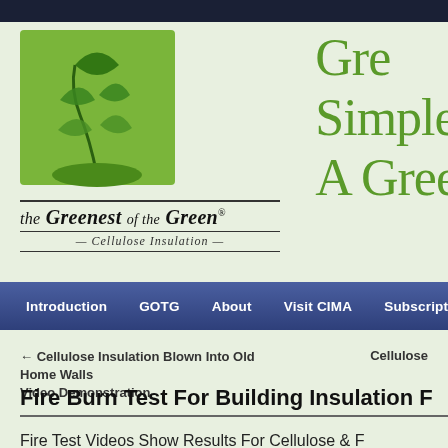[Figure (logo): Green plant/tree logo in a green square box with 'the Greenest of the Green® Cellulose Insulation' text below]
Gre
Simple
A Gree
Introduction | GOTG | About | Visit CIMA | Subscriptions
← Cellulose Insulation Blown Into Old Home Walls Video Demonstration
Cellulose
Fire Burn Test For Building Insulation F
Fire Test Videos Show Results For Cellulose & F